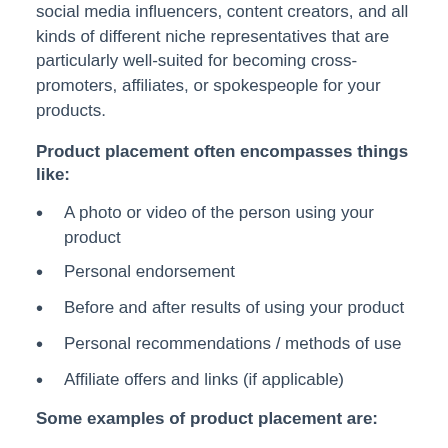social media influencers, content creators, and all kinds of different niche representatives that are particularly well-suited for becoming cross-promoters, affiliates, or spokespeople for your products.
Product placement often encompasses things like:
A photo or video of the person using your product
Personal endorsement
Before and after results of using your product
Personal recommendations / methods of use
Affiliate offers and links (if applicable)
Some examples of product placement are:
An in-the-studio video with a professional music